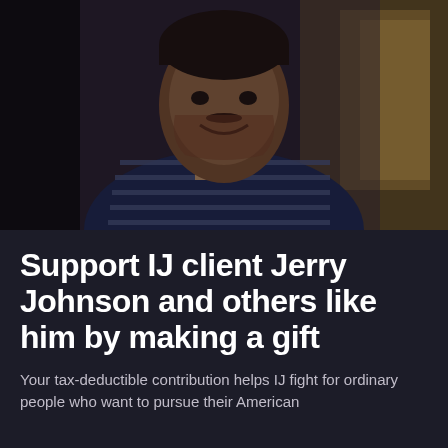[Figure (photo): Portrait photo of Jerry Johnson, a smiling Black man wearing a dark navy blue zip-up striped sweater, photographed indoors with warm bokeh background.]
Support IJ client Jerry Johnson and others like him by making a gift
Your tax-deductible contribution helps IJ fight for ordinary people who want to pursue their American